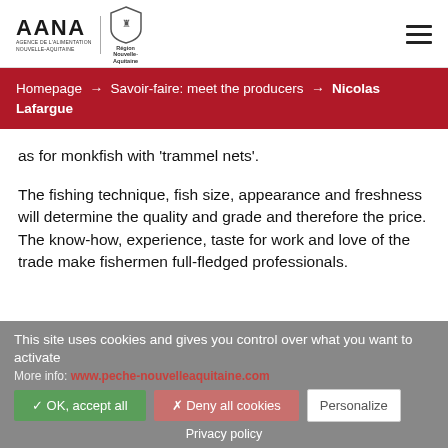AANA AGENCE DE L'ALIMENTATION NOUVELLE-AQUITAINE | Nouvelle-Aquitaine [logo]
Homepage → Savoir-faire: meet the producers → Nicolas Lafargue
as for monkfish with 'trammel nets'.
The fishing technique, fish size, appearance and freshness will determine the quality and grade and therefore the price. The know-how, experience, taste for work and love of the trade make fishermen full-fledged professionals.
This site uses cookies and gives you control over what you want to activate
More info: www.peche-nouvelleaquitaine.com
✓ OK, accept all   ✗ Deny all cookies   Personalize
Privacy policy